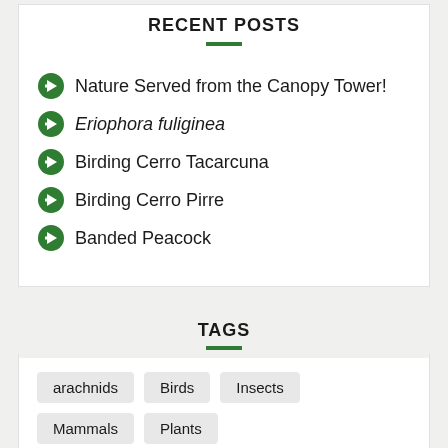RECENT POSTS
Nature Served from the Canopy Tower!
Eriophora fuliginea
Birding Cerro Tacarcuna
Birding Cerro Pirre
Banded Peacock
TAGS
arachnids
Birds
Insects
Mammals
Plants
Reptiles & Amphibians
spiders